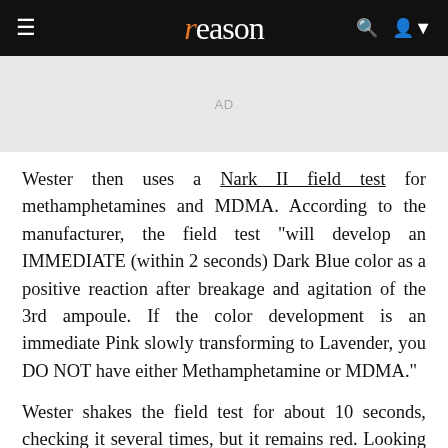reason
[Figure (other): Advertisement placeholder box with 'AD' label]
Wester then uses a Nark II field test for methamphetamines and MDMA. According to the manufacturer, the field test "will develop an IMMEDIATE (within 2 seconds) Dark Blue color as a positive reaction after breakage and agitation of the 3rd ampoule. If the color development is an immediate Pink slowly transforming to Lavender, you DO NOT have either Methamphetamine or MDMA."
Wester shakes the field test for about 10 seconds, checking it several times, but it remains red. Looking right at the small bag of pinkish red liquid, Wester then says "blue" and returns to Vann to tell him the substance tested